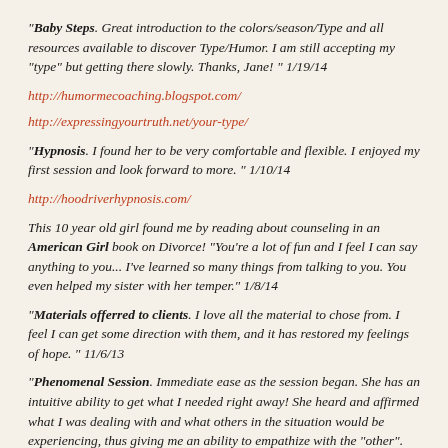"Baby Steps. Great introduction to the colors/season/Type and all resources available to discover Type/Humor. I am still accepting my "type" but getting there slowly. Thanks, Jane! " 1/19/14
http://humormecoaching.blogspot.com/
http://expressingyourtruth.net/your-type/
"Hypnosis. I found her to be very comfortable and flexible. I enjoyed my first session and look forward to more. " 1/10/14
http://hoodriverhypnosis.com/
This 10 year old girl found me by reading about counseling in an American Girl book on Divorce! "You're a lot of fun and I feel I can say anything to you... I've learned so many things from talking to you. You even helped my sister with her temper." 1/8/14
"Materials offerred to clients. I love all the material to chose from. I feel I can get some direction with them, and it has restored my feelings of hope. " 11/6/13
"Phenomenal Session. Immediate ease as the session began. She has an intuitive ability to get what I needed right away! She heard and affirmed what I was dealing with and what others in the situation would be experiencing, thus giving me an ability to empathize with the "other". She had many supportive ideas about where I could go from